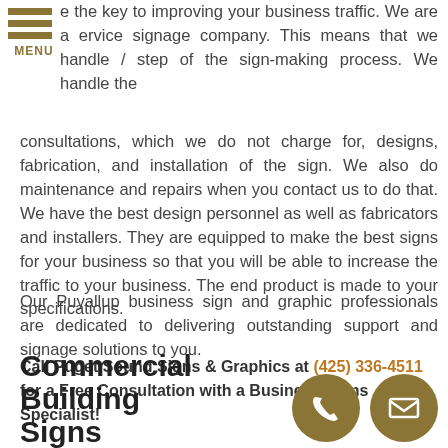[Figure (logo): Hamburger menu icon with three horizontal gold/brown bars and MENU text below]
e the key to improving your business traffic. We are a ervice signage company. This means that we handle / step of the sign-making process. We handle the consultations, which we do not charge for, designs, fabrication, and installation of the sign. We also do maintenance and repairs when you contact us to do that. We have the best design personnel as well as fabricators and installers. They are equipped to make the best signs for your business so that you will be able to increase the traffic to your business. The end product is made to your specifications.
Our Puyallup business sign and graphic professionals are dedicated to delivering outstanding support and signage solutions to you.
Call Puget Sound Signs & Graphics at (425) 336-4511 for a Free Consultation with a Business Signs Specialist!
Commercial Building Signs